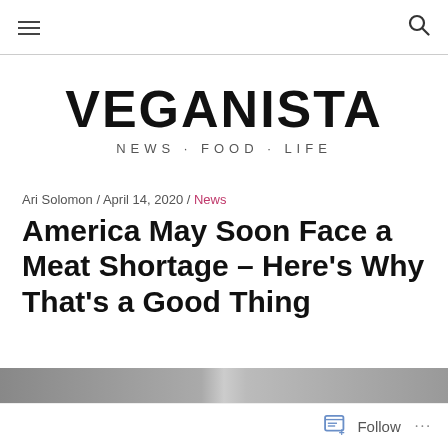≡  🔍
VEGANISTA
NEWS · FOOD · LIFE
Ari Solomon / April 14, 2020 / News
America May Soon Face a Meat Shortage – Here's Why That's a Good Thing
[Figure (photo): Partial view of an image at the bottom of the page, appears to be interior photograph]
Follow  ···